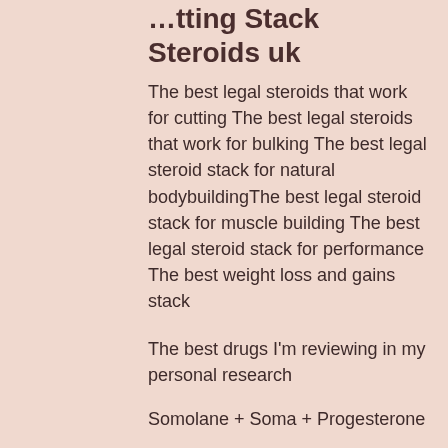…tting Stack Steroids uk
The best legal steroids that work for cutting The best legal steroids that work for bulking The best legal steroid stack for natural bodybuildingThe best legal steroid stack for muscle building The best legal steroid stack for performance The best weight loss and gains stack
The best drugs I'm reviewing in my personal research
Somolane + Soma + Progesterone
Somolane is an active ingredient in prescription medication and supplements containing somatropin which is one form of progesterone. Most steroids containing somatropin work with somatropin, however some work best with somatropin analogues, stack steroids uk cutting. Both sominol (the